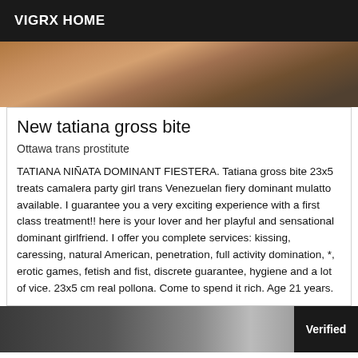VIGRX HOME
[Figure (photo): Cropped photo showing person's legs and lower body]
New tatiana gross bite
Ottawa trans prostitute
TATIANA NIÑATA DOMINANT FIESTERA. Tatiana gross bite 23x5 treats camalera party girl trans Venezuelan fiery dominant mulatto available. I guarantee you a very exciting experience with a first class treatment!! here is your lover and her playful and sensational dominant girlfriend. I offer you complete services: kissing, caressing, natural American, penetration, full activity domination, *, erotic games, fetish and fist, discrete guarantee, hygiene and a lot of vice. 23x5 cm real pollona. Come to spend it rich. Age 21 years.
[Figure (photo): Partial photo at bottom of page with Verified badge overlay]